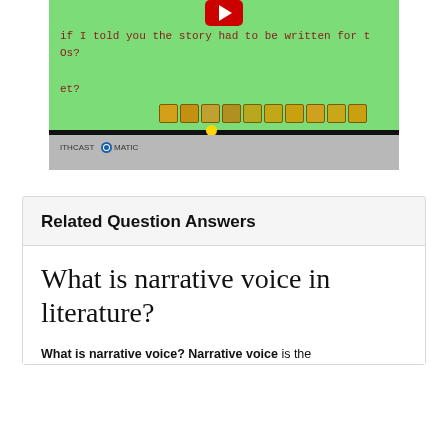[Figure (screenshot): Screenshot of a video player (Screencast-O-Matic) showing a green background with partial text 'if I told you the story had to be written for t', 'Os?', 'et?' and a toolbar row with yellow icons, a progress bar with a yellow dot, cursor arrow, and controls bar with 'CAST-O-MATIC' branding.]
Related Question Answers
What is narrative voice in literature?
What is narrative voice? Narrative voice is the